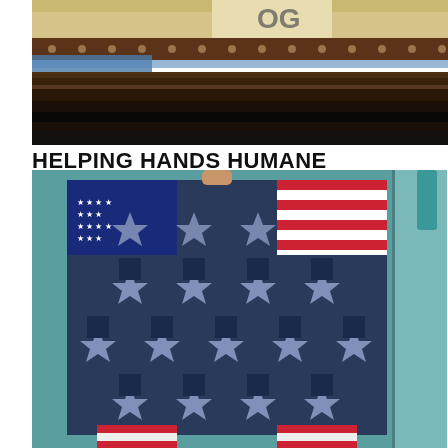[Figure (photo): Close-up photo showing top portion of a shelf or mantel with decorative items including what appears to be a brown/chocolate paw print patterned fabric border, a cream/white quilted or fabric item with 'OG' visible, some blue structure partially visible, and a dark wooden shelf edge]
HELPING HANDS HUMANE SOCIETY
Share    Post a Comment
[Figure (photo): Photo of a patriotic quilt with star/snowflake pattern in navy blue and light gray/silver fabric, featuring American flag panels in the upper left and upper right corners with stars and red/white stripes. The quilt is being held up or displayed against a teal/blue-green wall with a door visible on the right.]